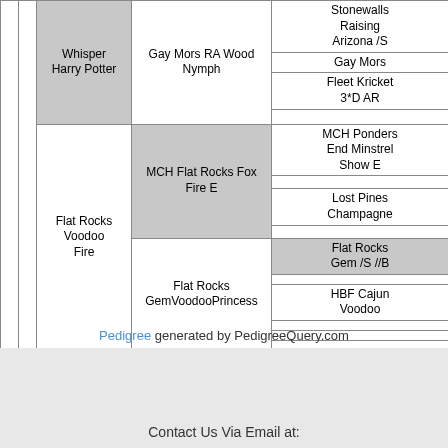|  |  | Whisper
Harry Potter | Gay Mors RA Wood
Nymph | Stonewalls
Raising
Arizona /S |
|  | Flat Rocks
Voodoo
Luck |  |  | Gay Mors |
|  |  |  |  | Fleet Kricket
3*D AR |
|  |  | Flat Rocks
Voodoo Fire | MCH Flat Rocks Fox
Fire E | MCH Ponders
End Minstrel
Show E |
|  |  |  |  | Lost Pines
Champagne |
|  |  |  | Flat Rocks
GemVoodooPrincess | Flat Rocks
Gem /S //B |
|  |  |  |  | HBF Cajun
Voodoo |
Pedigree generated by PedigreeQuery.com
Contact Us Via Email at: